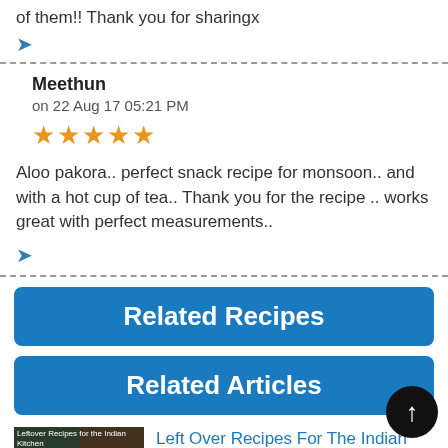of them!! Thank you for sharingx
Meethun
on 22 Aug 17 05:21 PM
★★★★★
Aloo pakora.. perfect snack recipe for monsoon.. and with a hot cup of tea.. Thank you for the recipe .. works great with perfect measurements..
Related Recipes
Related Articles
Left Over Recipes For The Indian Kitchen